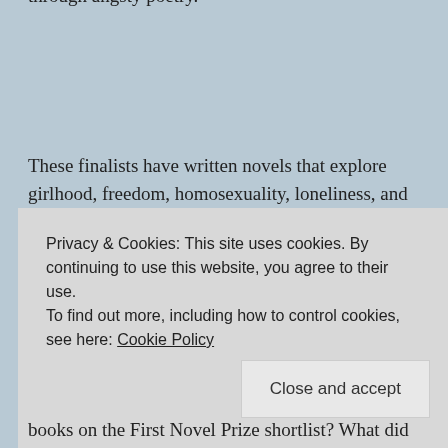through angsty poetry.
These finalists have written novels that explore girlhood, freedom, homosexuality, loneliness, and race. For the same reasons I think it’s valuable to keep up to snuff with what literary magazines are publishing, I think it’s also good to read books by new novelists – it’s a direct observation of what the publishing and creative worlds are paying attention
Privacy & Cookies: This site uses cookies. By continuing to use this website, you agree to their use.
To find out more, including how to control cookies, see here: Cookie Policy
Close and accept
books on the First Novel Prize shortlist? What did